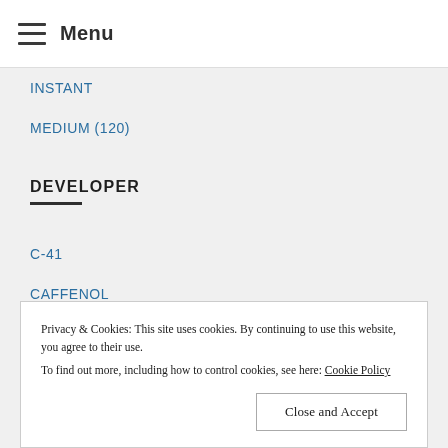Menu
INSTANT
MEDIUM (120)
DEVELOPER
C-41
CAFFENOL
RODINAL
XTOL
Privacy & Cookies: This site uses cookies. By continuing to use this website, you agree to their use.
To find out more, including how to control cookies, see here: Cookie Policy
Close and Accept